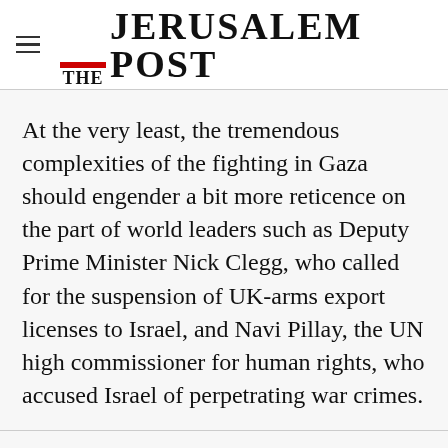THE JERUSALEM POST
At the very least, the tremendous complexities of the fighting in Gaza should engender a bit more reticence on the part of world leaders such as Deputy Prime Minister Nick Clegg, who called for the suspension of UK-arms export licenses to Israel, and Navi Pillay, the UN high commissioner for human rights, who accused Israel of perpetrating war crimes.
Advertisement